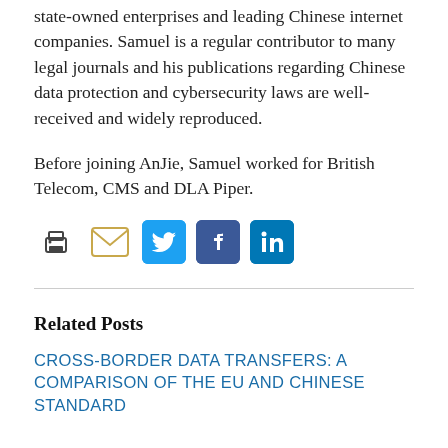state-owned enterprises and leading Chinese internet companies. Samuel is a regular contributor to many legal journals and his publications regarding Chinese data protection and cybersecurity laws are well-received and widely reproduced.
Before joining AnJie, Samuel worked for British Telecom, CMS and DLA Piper.
[Figure (infographic): Row of social sharing icons: print, email (envelope), Twitter bird, Facebook f, LinkedIn in]
Related Posts
CROSS-BORDER DATA TRANSFERS: A COMPARISON OF THE EU AND CHINESE STANDARD